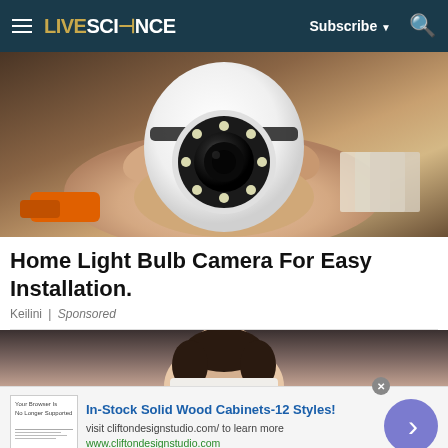LIVESCIENCE — Subscribe ▼ 🔍
[Figure (photo): A hand holding a white dome-shaped security camera with LED lights around the lens, with an orange drill and boxes of hardware in the background]
Home Light Bulb Camera For Easy Installation.
Keilini | Sponsored
[Figure (photo): Partial view of a woman with long dark hair wearing a white top, photo cropped at head/shoulder level, dark background]
[Figure (screenshot): Advertisement bar at bottom: thumbnail image of browser no longer supported notice, text 'In-Stock Solid Wood Cabinets-12 Styles! visit cliftondesignstudio.com/ to learn more www.cliftondesignstudio.com', with a circular arrow button on the right in blue/purple]